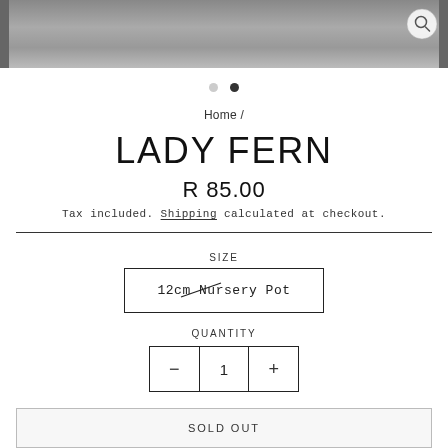[Figure (photo): Top portion of a product photo (plant/fern), partially visible, with a search/zoom icon in the top right corner.]
Home /
LADY FERN
R 85.00
Tax included. Shipping calculated at checkout.
SIZE
12cm Nursery Pot
QUANTITY
1
SOLD OUT